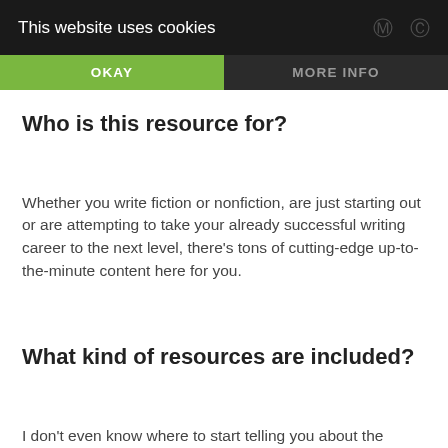This website uses cookies
OKAY
MORE INFO
Who is this resource for?
Whether you write fiction or nonfiction, are just starting out or are attempting to take your already successful writing career to the next level, there’s tons of cutting-edge up-to-the-minute content here for you.
What kind of resources are included?
I don’t even know where to start telling you about the depth of information they’ve compiled—but here’s a quick list of